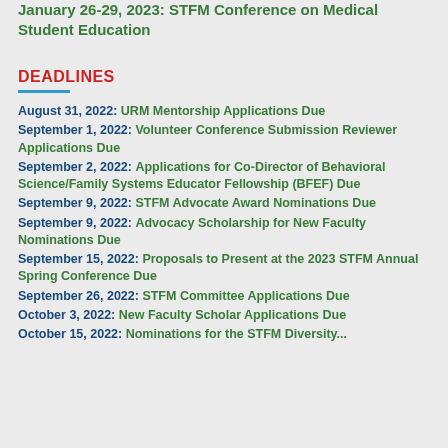January 26-29, 2023: STFM Conference on Medical Student Education
DEADLINES
August 31, 2022: URM Mentorship Applications Due
September 1, 2022: Volunteer Conference Submission Reviewer Applications Due
September 2, 2022: Applications for Co-Director of Behavioral Science/Family Systems Educator Fellowship (BFEF) Due
September 9, 2022: STFM Advocate Award Nominations Due
September 9, 2022: Advocacy Scholarship for New Faculty Nominations Due
September 15, 2022: Proposals to Present at the 2023 STFM Annual Spring Conference Due
September 26, 2022: STFM Committee Applications Due
October 3, 2022: New Faculty Scholar Applications Due
October 15, 2022: Nominations for the STFM Diversity...